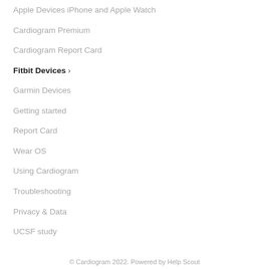Apple Devices iPhone and Apple Watch
Cardiogram Premium
Cardiogram Report Card
Fitbit Devices ›
Garmin Devices
Getting started
Report Card
Wear OS
Using Cardiogram
Troubleshooting
Privacy & Data
UCSF study
© Cardiogram 2022. Powered by Help Scout